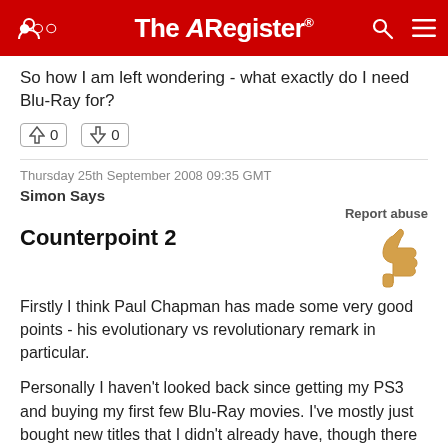The Register
So how I am left wondering - what exactly do I need Blu-Ray for?
↑0  ↓0
Thursday 25th September 2008 09:35 GMT
Simon Says
Report abuse
Counterpoint 2
Firstly I think Paul Chapman has made some very good points - his evolutionary vs revolutionary remark in particular.
Personally I haven't looked back since getting my PS3 and buying my first few Blu-Ray movies. I've mostly just bought new titles that I didn't already have, though there were some titles I already had on DVD that I really wanted to be able to watch in the best possible quality and at those, on BD, dwarfed the DVD on a Rec for...